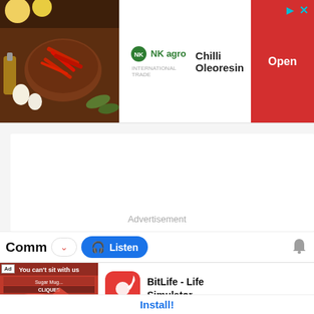[Figure (screenshot): Top advertisement banner showing NK Agro logo, Chilli Oleoresin text, and an Open button on red background, with a food/spice photo on the left]
[Figure (screenshot): Main webpage area showing a white content region with 'Advertisement' text label and a comments section bar with Listen button and bell icon]
Advertisement
Comm
[Figure (screenshot): Bottom popup ad showing BitLife Life Simulator app with red game screenshot on left and app icon + name on right, with Install button]